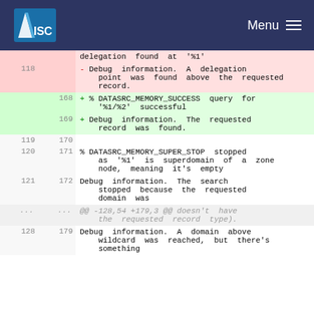ISC — Menu
| Old | New | Content |
| --- | --- | --- |
|  |  | delegation found at '%1' |
| 118 |  | - Debug information. A delegation point was found above the requested record. |
|  | 168 | + % DATASRC_MEMORY_SUCCESS query for '%1/%2' successful |
|  | 169 | + Debug information. The requested record was found. |
| 119 | 170 |  |
| 120 | 171 | % DATASRC_MEMORY_SUPER_STOP stopped as '%1' is superdomain of a zone node, meaning it's empty |
| 121 | 172 | Debug information. The search stopped because the requested domain was |
| ... | ... | @@ -128,54 +179,3 @@ doesn't have the requested record type). |
| 128 | 179 | Debug information. A domain above wildcard was reached, but there's something |